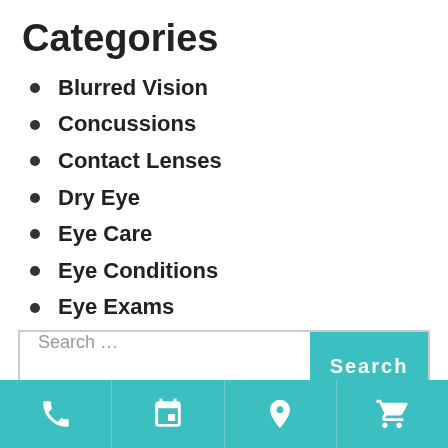Categories
Blurred Vision
Concussions
Contact Lenses
Dry Eye
Eye Care
Eye Conditions
Eye Exams
Uncategorized
Search ...
[Figure (other): Bottom navigation bar with four icons: phone, calendar, location pin, and shopping cart, on a teal background]